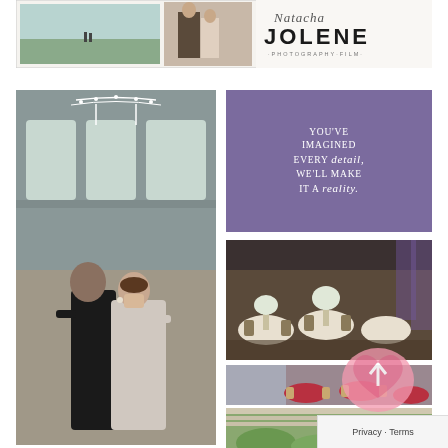[Figure (photo): Natacha Jolene Photography and Film banner: two wedding photos (outdoor landscape with couple silhouette, couple portrait) and the Natacha Jolene Photography Film logo in script and block lettering]
[Figure (photo): Tall vertical photo of a couple dancing inside a grand ballroom/hall with large arched windows, ornate light arch decoration, and balcony railing. Man in black tuxedo, woman in light gown with dark hair and earrings]
YOU'VE IMAGINED EVERY detail, WE'LL MAKE IT A reality.
[Figure (photo): Banquet hall with round tables set with white linens and tall floral centerpieces, chairs, purple ambient uplighting along walls]
[Figure (photo): Banquet room with red tablecloths on round tables, gold chairs, large windows with blue sky visible outside]
[Figure (photo): Partially visible outdoor pergola/garden setting with white structure beams and surrounding greenery/trees]
[Figure (illustration): Pink heart icon with upward arrow, scroll-to-top or save button overlay]
Privacy · Terms